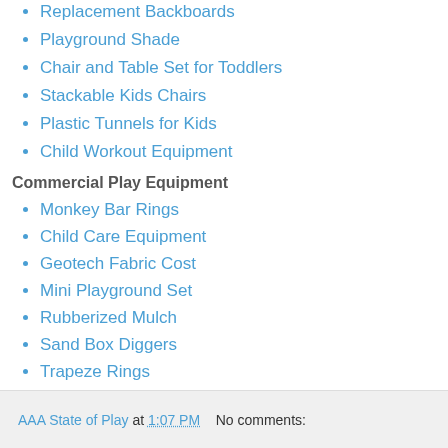Replacement Backboards
Playground Shade
Chair and Table Set for Toddlers
Stackable Kids Chairs
Plastic Tunnels for Kids
Child Workout Equipment
Commercial Play Equipment
Monkey Bar Rings
Child Care Equipment
Geotech Fabric Cost
Mini Playground Set
Rubberized Mulch
Sand Box Diggers
Trapeze Rings
AAA State of Play at 1:07 PM   No comments: